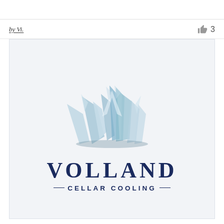by Vi.
3
[Figure (logo): Volland Cellar Cooling logo featuring ice crystal formations in light blue shades forming a V shape, with the text VOLLAND in large dark navy serif letters and —CELLAR COOLING— in smaller navy sans-serif letters below]
VOLLAND
—CELLAR COOLING—